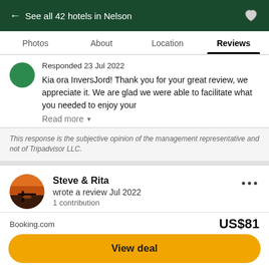← See all 42 hotels in Nelson
Photos  About  Location  Reviews
Responded 23 Jul 2022
Kia ora InversJord! Thank you for your great review, we appreciate it. We are glad we were able to facilitate what you needed to enjoy your
Read more
This response is the subjective opinion of the management representative and not of Tripadvisor LLC.
Steve & Rita
wrote a review Jul 2022
1 contribution
Booking.com  US$81
View deal